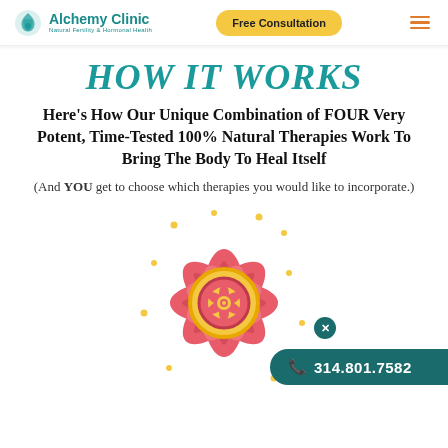Alchemy Clinic — Natural Fertility & Hormonal Health | Free Consultation
How It Works
Here's How Our Unique Combination of FOUR Very Potent, Time-Tested 100% Natural Therapies Work To Bring The Body To Heal Itself
(And YOU get to choose which therapies you would like to incorporate.)
[Figure (illustration): Decorative mandala/lotus flower illustration with pink petals, gold center circle, red inner circle, and small yellow dots surrounding it. A phone contact bar overlaid at bottom right showing 314.801.7582 on a teal background with a close button.]